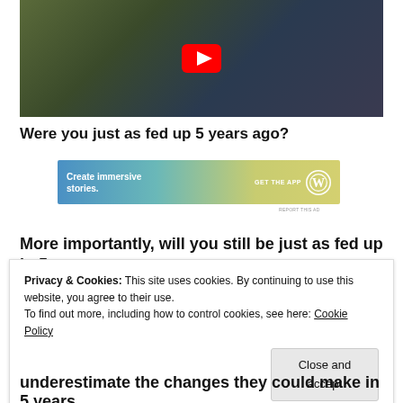[Figure (screenshot): YouTube video thumbnail showing a person in a car, with red YouTube play button overlay in center]
Were you just as fed up 5 years ago?
[Figure (other): Advertisement banner: Create immersive stories. GET THE APP [WordPress logo]]
REPORT THIS AD
More importantly, will you still be just as fed up in 5 years
Privacy & Cookies: This site uses cookies. By continuing to use this website, you agree to their use. To find out more, including how to control cookies, see here: Cookie Policy
underestimate the changes they could make in 5 years.